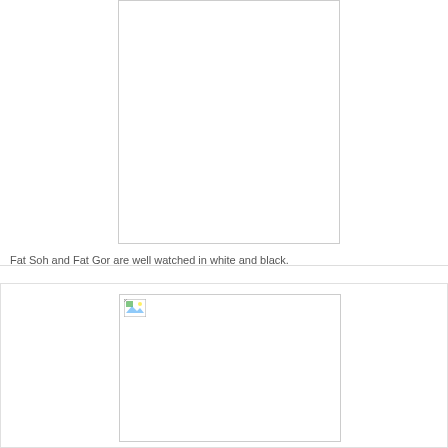[Figure (photo): A large white/blank image placeholder in the upper portion of the page, with a border.]
Fat Soh and Fat Gor are well watched in white and black.
[Figure (photo): A second image placeholder in the lower portion of the page, with a small broken-image icon in the top-left corner and a border.]